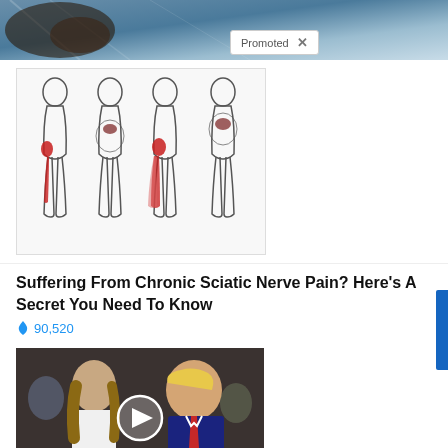[Figure (photo): Top banner image with blurred background and 'Promoted X' badge overlay]
[Figure (illustration): Medical illustration of sciatic nerve pain showing four human body outlines with red highlighted areas indicating nerve pain pathways down the legs]
Suffering From Chronic Sciatic Nerve Pain? Here's A Secret You Need To Know
🔥 90,520
[Figure (photo): Photo of a man and woman with a video play button overlay, suggesting a political video thumbnail]
Democrats Want This Video Destroyed — Watch Now Before It's Banned
🔥 227,282